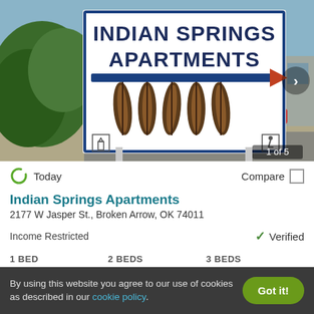[Figure (photo): Photo of Indian Springs Apartments sign — white sign with navy blue text reading INDIAN SPRINGS APARTMENTS with decorative feather imagery and an arrow. Green shrubbery on left, apartment buildings visible in background right.]
Today
Compare
Indian Springs Apartments
2177 W Jasper St., Broken Arrow, OK 74011
Income Restricted
Verified
1 BED   2 BEDS   3 BEDS
Ask for pricing
By using this website you agree to our use of cookies as described in our cookie policy.